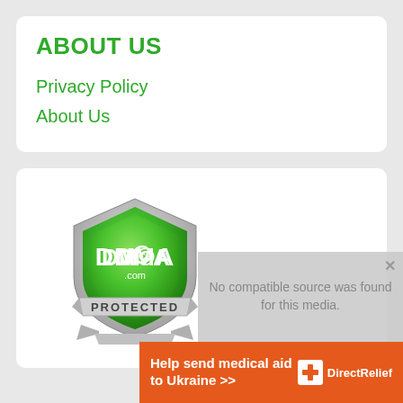ABOUT US
Privacy Policy
About Us
[Figure (logo): DMCA Protected badge shield logo in green and silver with text 'DMCA.com' and 'PROTECTED' on a ribbon banner]
No compatible source was found for this media.
Help send medical aid to Ukraine >> Direct Relief